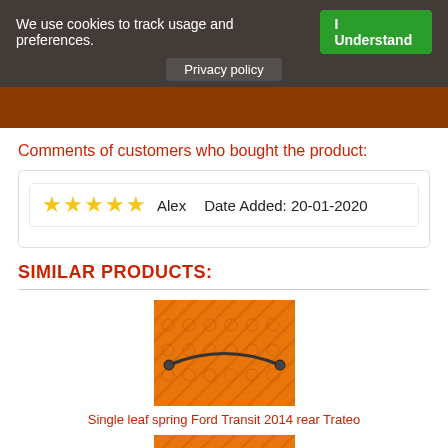We use cookies to track usage and preferences.  I Understand
Privacy policy
Comments of customers who bought the product:
★★★★★  Alex   Date Added: 20-01-2020
SIMILAR PRODUCTS:
[Figure (photo): Orange branded product image showing a single leaf spring against an orange patterned background.]
Single leaf spring Ford Transit 2014 rear Trateo
[Figure (photo): Second orange branded product image showing another leaf spring component, partially visible.]